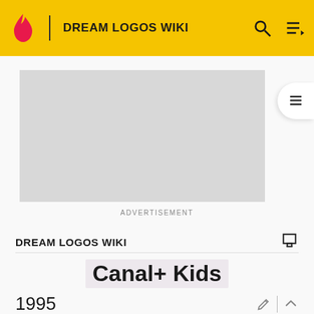DREAM LOGOS WIKI
[Figure (other): Advertisement placeholder grey rectangle]
ADVERTISEMENT
DREAM LOGOS WIKI
Canal+ Kids
1995
In January 1995, PKO and Canal+ launched Canal+ Kids...